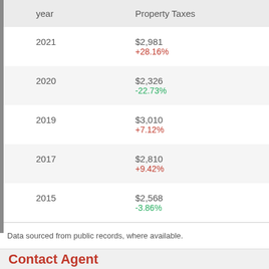| year | Property Taxes |
| --- | --- |
| 2021 | $2,981
+28.16% |
| 2020 | $2,326
-22.73% |
| 2019 | $3,010
+7.12% |
| 2017 | $2,810
+9.42% |
| 2015 | $2,568
-3.86% |
Data sourced from public records, where available.
Contact Agent